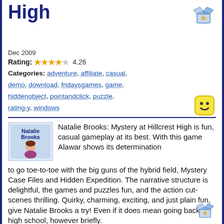High
Dec 2009
Rating: 4.26
Categories: adventure, affiliate, casual, demo, download, fridaysgames, game, hiddenobject, pointandclick, puzzle, rating-y, windows
Natalie Brooks: Mystery at Hillcrest High is fun, casual gameplay at its best. With this game Alawar shows its determination to go toe-to-toe with the big guns of the hybrid field, Mystery Case Files and Hidden Expedition. The narrative structure is delightful, the games and puzzles fun, and the action cut-scenes thrilling. Quirky, charming, exciting, and just plain fun, give Natalie Brooks a try! Even if it does mean going back to high school, however briefly.
Samantha Swift: Mystery from Atlantis
Dec 2009